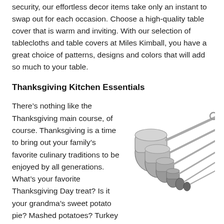security, our effortless decor items take only an instant to swap out for each occasion. Choose a high-quality table cover that is warm and inviting. With our selection of tablecloths and table covers at Miles Kimball, you have a great choice of patterns, designs and colors that will add so much to your table.
Thanksgiving Kitchen Essentials
There's nothing like the Thanksgiving main course, of course. Thanksgiving is a time to bring out your family's favorite culinary traditions to be enjoyed by all generations. What's your favorite Thanksgiving Day treat? Is it your grandma's sweet potato pie? Mashed potatoes? Turkey or ham? Luckily, Miles
[Figure (photo): A set of stainless steel measuring spoons and cups fanned out on a white background.]
Kimball has the best measuring spoons and tools that will help...